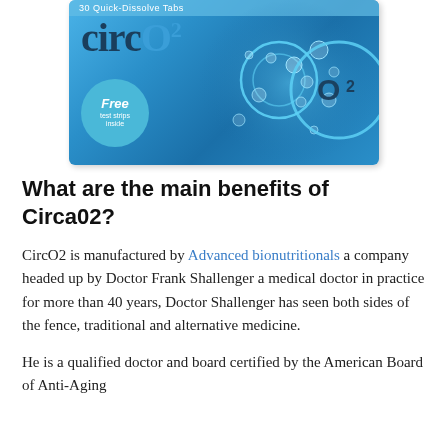[Figure (photo): Product box of circO2 (30 Quick-Dissolve Tabs) with blue water/bubble background, 'Free test strips inside' badge, and large circO2 branding]
What are the main benefits of Circa02?
CircO2 is manufactured by Advanced bionutritionals a company headed up by Doctor Frank Shallenger a medical doctor in practice for more than 40 years, Doctor Shallenger has seen both sides of the fence, traditional and alternative medicine.
He is a qualified doctor and board certified by the American Board of Anti-Aging